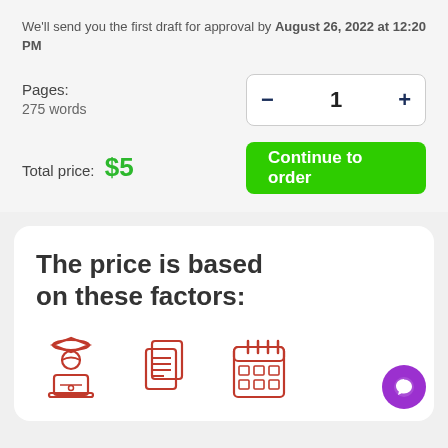We'll send you the first draft for approval by August 26, 2022 at 12:20 PM
Pages:
275 words
Total price: $5
Continue to order
The price is based on these factors:
[Figure (illustration): Three red outline icons: a student with graduation cap at laptop, stacked pages/documents, and a calendar grid.]